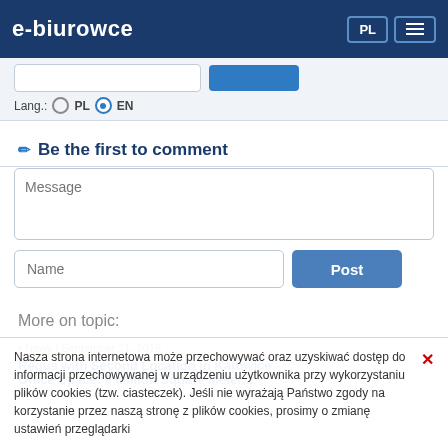e-biurowce
Lang.: PL  EN
Be the first to comment
Message
Name
Post
More on topic:
News | September 21, 2019 - Regus With Second Location In Katowice
Office Space: 6 Million Square Meters In...
Nasza strona internetowa może przechowywać oraz uzyskiwać dostęp do informacji przechowywanej w urządzeniu użytkownika przy wykorzystaniu plików cookies (tzw. ciasteczek). Jeśli nie wyrażają Państwo zgody na korzystanie przez naszą stronę z plików cookies, prosimy o zmianę ustawień przeglądarki